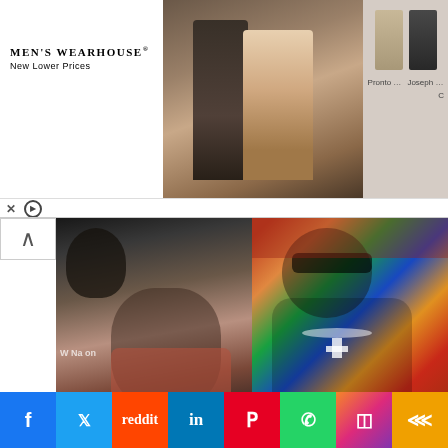[Figure (screenshot): Men's Wearhouse advertisement banner with wedding photo and suit thumbnails. Text: MEN'S WEARHOUSE® New Lower Prices. Labels: Pronto..., Joseph..., C]
[Figure (photo): Two side-by-side photos: left shows Davido and an older woman (Wizkid's mother) taking a selfie; right shows Wizkid in colorful outfit with sunglasses. Tags: ENTERTAINMENT NEWS, LIFE STYLES]
Davido Meets Wizkid's Mother At The Airport, Carries Her Bags (PHOTOS)
August 27, 2022
[Figure (photo): Partial photo at bottom showing outdoor scene with greenery and orange tones]
f  🐦  reddit  in  P  WhatsApp  Instagram  share